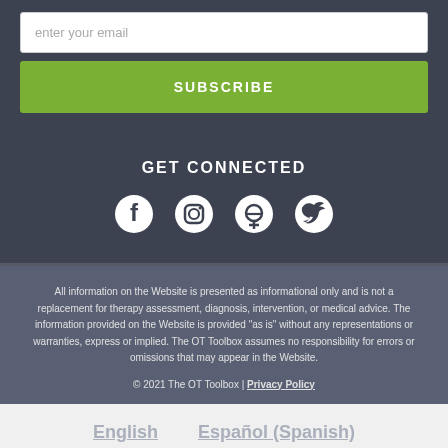enter your email
SUBSCRIBE
GET CONNECTED
[Figure (infographic): Four social media icons: Facebook, Instagram, Pinterest, Twitter]
All information on the Website is presented as informational only and is not a replacement for therapy assessment, diagnosis, intervention, or medical advice. The information provided on the Website is provided "as is" without any representations or warranties, express or implied. The OT Toolbox assumes no responsibility for errors or omissions that may appear in the Website.
© 2021 The OT Toolbox | Privacy Policy
English    Español (Spanish)